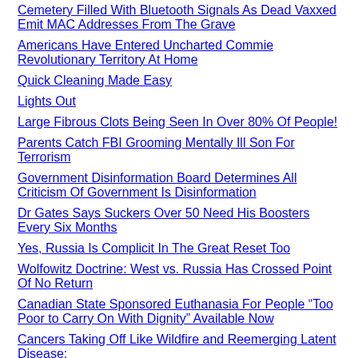Cemetery Filled With Bluetooth Signals As Dead Vaxxed Emit MAC Addresses From The Grave
Americans Have Entered Uncharted Commie Revolutionary Territory At Home
Quick Cleaning Made Easy
Lights Out
Large Fibrous Clots Being Seen In Over 80% Of People!
Parents Catch FBI Grooming Mentally Ill Son For Terrorism
Government Disinformation Board Determines All Criticism Of Government Is Disinformation
Dr Gates Says Suckers Over 50 Need His Boosters Every Six Months
Yes, Russia Is Complicit In The Great Reset Too
Wolfowitz Doctrine: West vs. Russia Has Crossed Point Of No Return
Canadian State Sponsored Euthanasia For People “Too Poor to Carry On With Dignity” Available Now
Cancers Taking Off Like Wildfire and Reemerging Latent Disease: